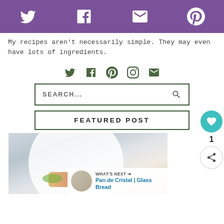Social media icon bar (Twitter, Facebook, Email, Pinterest) on purple background
My recipes aren't necessarily simple. They may even have lots of ingredients.
[Figure (infographic): Row of social media icons (Twitter, Facebook, Pinterest, Instagram, Email) in dark green]
[Figure (infographic): Search box with text SEARCH... and magnifying glass icon, bordered in dark green]
FEATURED POST
[Figure (photo): Food photo showing a white plate with colorful dish on a grey striped background, partially cropped]
[Figure (infographic): Right-side floating panel with heart/like button (teal circle), count of 1, and share button]
WHAT'S NEXT → Pan de Cristal | Glass Bread